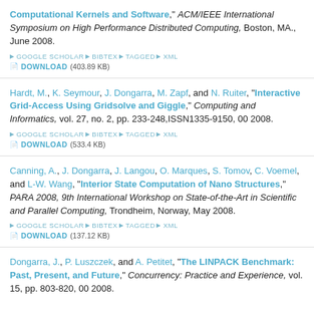Computational Kernels and Software," ACM/IEEE International Symposium on High Performance Distributed Computing, Boston, MA., June 2008. [GOOGLE SCHOLAR] [BIBTEX] [TAGGED] [XML] [DOWNLOAD] (403.89 KB)
Hardt, M., K. Seymour, J. Dongarra, M. Zapf, and N. Ruiter, "Interactive Grid-Access Using Gridsolve and Giggle," Computing and Informatics, vol. 27, no. 2, pp. 233-248,ISSN1335-9150, 00 2008. [GOOGLE SCHOLAR] [BIBTEX] [TAGGED] [XML] [DOWNLOAD] (533.4 KB)
Canning, A., J. Dongarra, J. Langou, O. Marques, S. Tomov, C. Voemel, and L-W. Wang, "Interior State Computation of Nano Structures," PARA 2008, 9th International Workshop on State-of-the-Art in Scientific and Parallel Computing, Trondheim, Norway, May 2008. [GOOGLE SCHOLAR] [BIBTEX] [TAGGED] [XML] [DOWNLOAD] (137.12 KB)
Dongarra, J., P. Luszczek, and A. Petitet, "The LINPACK Benchmark: Past, Present, and Future," Concurrency: Practice and Experience, vol. 15, pp. 803-820, 00 2008.